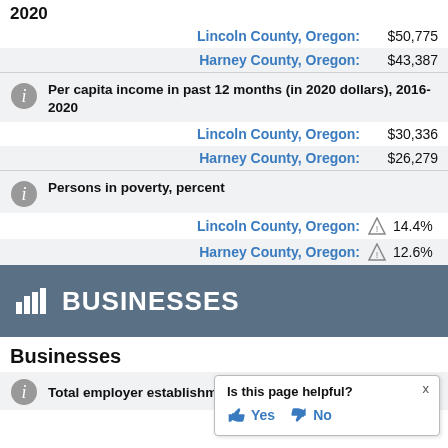2020
Lincoln County, Oregon: $50,775
Harney County, Oregon: $43,387
Per capita income in past 12 months (in 2020 dollars), 2016-2020
Lincoln County, Oregon: $30,336
Harney County, Oregon: $26,279
Persons in poverty, percent
Lincoln County, Oregon: 14.4%
Harney County, Oregon: 12.6%
BUSINESSES
Businesses
Total employer establishment
Is this page helpful? Yes No